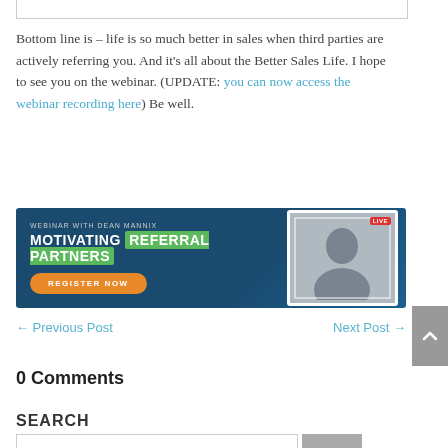Bottom line is  – life is so much better in sales when third parties are actively referring you. And it's all about the Better Sales Life. I hope to see you on the webinar. (UPDATE: you can now access the webinar recording here) Be well.
[Figure (infographic): Webinar banner with Dean Mannix promoting 'Motivating Referral Partners' webinar. Dark blue background, title in white and green, orange 'Register Now' button, and a photo of a man on the right.]
← Previous Post    Next Post →
0 Comments
SEARCH